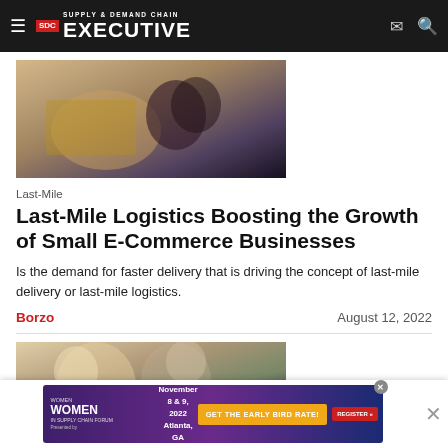Supply & Demand Chain Executive
[Figure (photo): Hero image showing a person in a vehicle holding a package, related to last-mile delivery]
Last-Mile
Last-Mile Logistics Boosting the Growth of Small E-Commerce Businesses
Is the demand for faster delivery that is driving the concept of last-mile delivery or last-mile logistics.
Borzo    August 12, 2022
[Figure (photo): Two people in a professional setting, related to a second article]
[Figure (other): Advertisement banner: Women in Supply Chain Forum, November 8 & 9, 2022, Atlanta, GA. Get the Early Bird Rate! Register.]